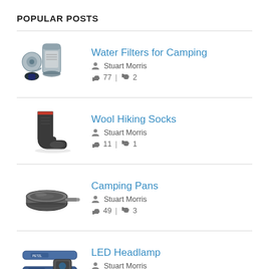POPULAR POSTS
Water Filters for Camping | Stuart Morris | 👍 77 | 👎 2
Wool Hiking Socks | Stuart Morris | 👍 11 | 👎 1
Camping Pans | Stuart Morris | 👍 49 | 👎 3
LED Headlamp | Stuart Morris | 👍 38 | 👎 5